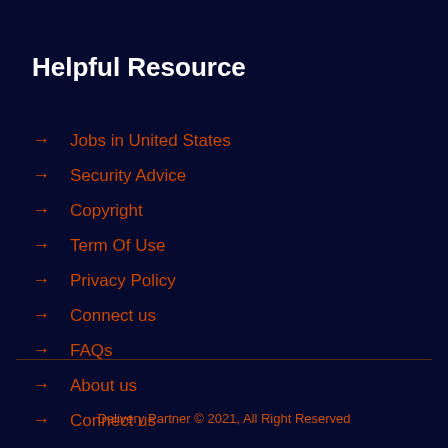Helpful Resource
→ Jobs in United States
→ Security Advice
→ Copyright
→ Term Of Use
→ Privacy Policy
→ Connect us
→ FAQs
→ About us
→ Connect us
Delivery Partner © 2021, All Right Reserved